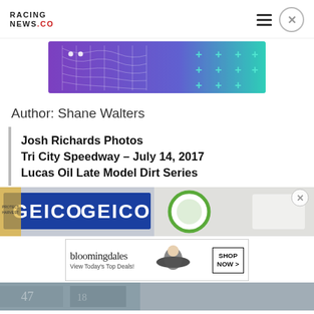RACING NEWS.CO
[Figure (infographic): Decorative ad banner with purple to teal gradient, white grid mesh pattern on left, teal plus signs on right]
Author: Shane Walters
Josh Richards Photos Tri City Speedway – July 14, 2017 Lucas Oil Late Model Dirt Series
[Figure (photo): GEICO banner sign on a wall, blue and white lettering]
[Figure (photo): Partial view of a green and white circular logo sign]
[Figure (infographic): Bloomingdale's advertisement: View Today's Top Deals! with woman in hat and SHOP NOW button]
[Figure (photo): Blurred bottom photo with racing numbers and crowd]